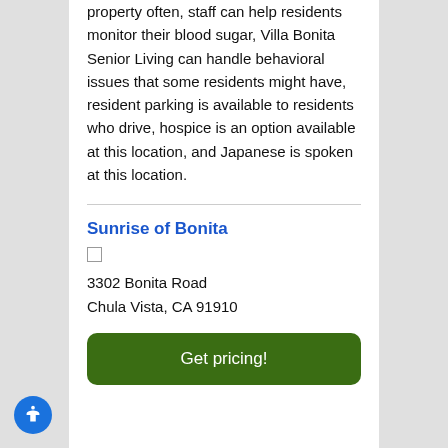property often, staff can help residents monitor their blood sugar, Villa Bonita Senior Living can handle behavioral issues that some residents might have, resident parking is available to residents who drive, hospice is an option available at this location, and Japanese is spoken at this location.
Sunrise of Bonita
3302 Bonita Road
Chula Vista, CA 91910
Get pricing!